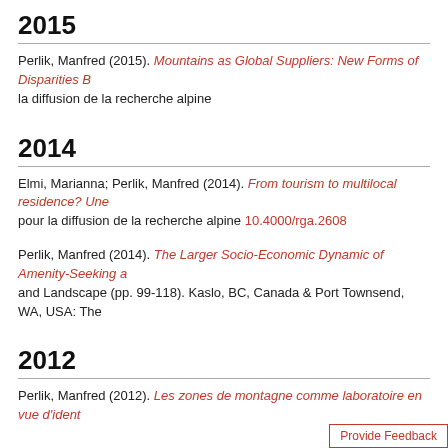2015
Perlik, Manfred (2015). Mountains as Global Suppliers: New Forms of Disparities B... la diffusion de la recherche alpine
2014
Elmi, Marianna; Perlik, Manfred (2014). From tourism to multilocal residence? Une... pour la diffusion de la recherche alpine 10.4000/rga.2608
Perlik, Manfred (2014). The Larger Socio-Economic Dynamic of Amenity-Seeking a... and Landscape (pp. 99-118). Kaslo, BC, Canada & Port Townsend, WA, USA: The...
2012
Perlik, Manfred (2012). Les zones de montagne comme laboratoire en vue d'ident...
2011
Perlik, Manfred (2011). Alpine gentrification: The mountain village as a metropolita... alpine research, 99(99-1) Association pour la diffusion de la recherche alpine 10...